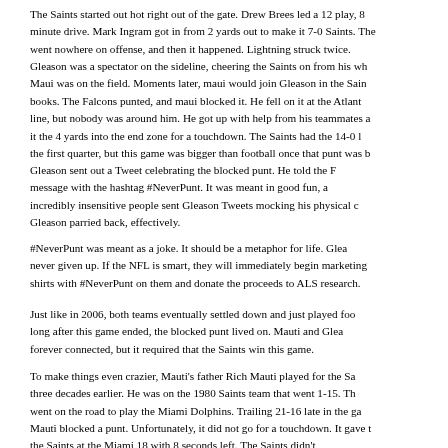The Saints started out hot right out of the gate. Drew Brees led a 12 play, 8 minute drive. Mark Ingram got in from 2 yards out to make it 7-0 Saints. The went nowhere on offense, and then it happened. Lightning struck twice. Gleason was a spectator on the sideline, cheering the Saints on from his wh Maui was on the field. Moments later, maui would join Gleason in the Sain books. The Falcons punted, and maui blocked it. He fell on it at the Atlant line, but nobody was around him. He got up with help from his teammates a it the 4 yards into the end zone for a touchdown. The Saints had the 14-0 l the first quarter, but this game was bigger than football once that punt was b
Gleason sent out a Tweet celebrating the blocked punt. He told the F message with the hashtag #NeverPunt. It was meant in good fun, a incredibly insensitive people sent Gleason Tweets mocking his physical c Gleason parried back, effectively.
#NeverPunt was meant as a joke. It should be a metaphor for life. Glea never given up. If the NFL is smart, they will immediately begin marketing shirts with #NeverPunt on them and donate the proceeds to ALS research.
Just like in 2006, both teams eventually settled down and just played foo long after this game ended, the blocked punt lived on. Mauti and Glea forever connected, but it required that the Saints win this game.
To make things even crazier, Mauti's father Rich Mauti played for the Sa three decades earlier. He was on the 1980 Saints team that went 1-15. Th went on the road to play the Miami Dolphins. Trailing 21-16 late in the ga Mauti blocked a punt. Unfortunately, it did not go for a touchdown. It gave t the Saints at the Miami 18 with 8 seconds left. The Saints didn't